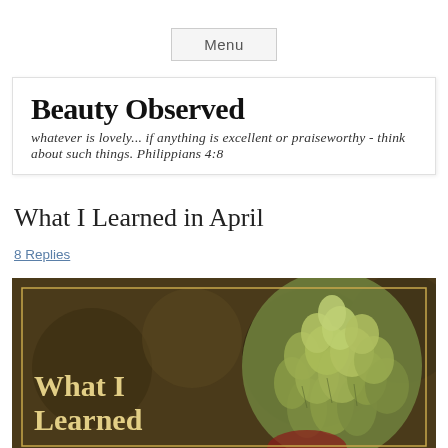Menu
[Figure (illustration): Beauty Observed blog banner with bold serif title and cursive scripture subtitle]
What I Learned in April
8 Replies
[Figure (photo): Article thumbnail image showing artichoke flower bud with text 'What I Learned' overlaid in gold serif font, gold border frame on dark bokeh background]